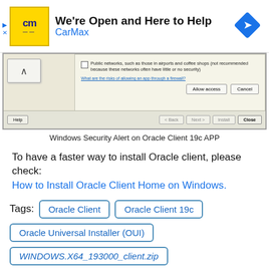[Figure (screenshot): CarMax advertisement banner with yellow CM logo, headline 'We're Open and Here to Help', blue CarMax text, and blue navigation diamond icon on right]
[Figure (screenshot): Windows Security Alert dialog on Oracle Client 19c APP installation showing a checkbox for Public networks option, a help link, Allow access and Cancel buttons, and Help/Back/Next/Finish/Close navigation buttons at bottom]
Windows Security Alert on Oracle Client 19c APP
To have a faster way to install Oracle client, please check:
How to Install Oracle Client Home on Windows.
Tags:
Oracle Client
Oracle Client 19c
Oracle Universal Installer (OUI)
WINDOWS.X64_193000_client.zip